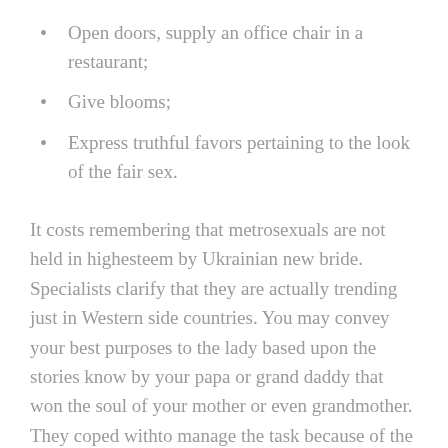Open doors, supply an office chair in a restaurant;
Give blooms;
Express truthful favors pertaining to the look of the fair sex.
It costs remembering that metrosexuals are not held in highesteem by Ukrainian new bride. Specialists clarify that they are actually trending just in Western side countries. You may convey your best purposes to the lady based upon the stories know by your papa or grand daddy that won the soul of your mother or even grandmother. They coped withto manage the task because of the exhibition of male character qualities. You can easily create a great opinion on a female based upon her desires in guys, whichshe suggested in internet interaction. When satisfying a rep of the more powerful sex must attempt to become dominant, but leave her